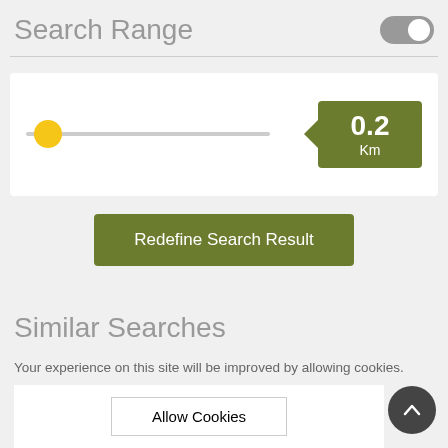Search Range
[Figure (screenshot): A range slider with yellow thumb positioned at far left, with a green badge showing '0.2 Km' on the right side]
[Figure (screenshot): Green button labeled 'Redefine Search Result']
Similar Searches
Your experience on this site will be improved by allowing cookies.
[Figure (screenshot): Allow Cookies button and scroll-to-top circular button]